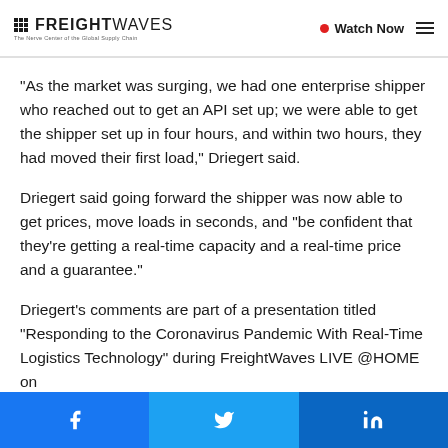FREIGHTWAVES — The Nerve Center of the Global Supply Chain | Watch Now
“As the market was surging, we had one enterprise shipper who reached out to get an API set up; we were able to get the shipper set up in four hours, and within two hours, they had moved their first load,” Driegert said.
Driegert said going forward the shipper was now able to get prices, move loads in seconds, and “be confident that they’re getting a real-time capacity and a real-time price and a guarantee.”
Driegert’s comments are part of a presentation titled “Responding to the Coronavirus Pandemic With Real-Time Logistics Technology” during FreightWaves LIVE @HOME on
Facebook | Twitter | LinkedIn